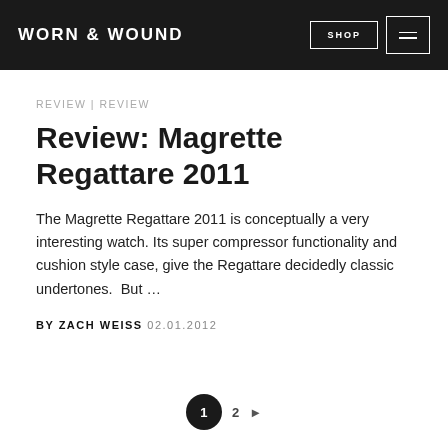WORN & WOUND | SHOP [navigation]
REVIEW | REVIEW
Review: Magrette Regattare 2011
The Magrette Regattare 2011 is conceptually a very interesting watch. Its super compressor functionality and cushion style case, give the Regattare decidedly classic undertones.  But …
BY ZACH WEISS 02.01.2012